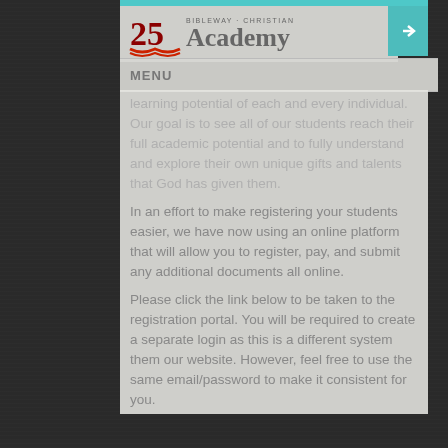[Figure (logo): Bibleway Christian Academy logo with '25' anniversary mark and teal login button]
MENU
learning potential of each and every individual. Our goal is to see all of our students reach their full academic potential and to fully understand and explore their own unique gifts and talents that God has given them.
In an effort to make registering your students easier, we have now using an online platform that will allow you to register, pay, and submit any additional documents all online.
Please click the link below to be taken to the registration portal. You will be required to create a separate login as this is a different system them our website. However, feel free to use the same email/password to make it consistent for you.